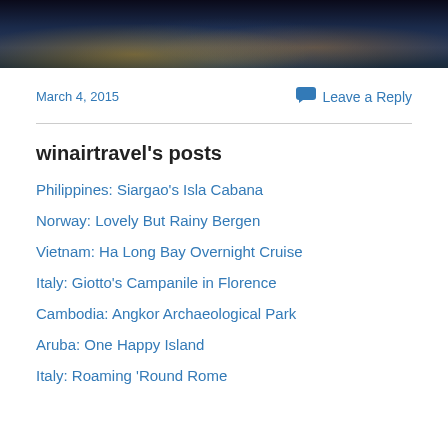[Figure (photo): Nighttime aerial photo of a city with river, bridges, and illuminated buildings with warm orange and blue tones]
March 4, 2015
Leave a Reply
winairtravel's posts
Philippines: Siargao's Isla Cabana
Norway: Lovely But Rainy Bergen
Vietnam: Ha Long Bay Overnight Cruise
Italy: Giotto's Campanile in Florence
Cambodia: Angkor Archaeological Park
Aruba: One Happy Island
Italy: Roaming 'Round Rome